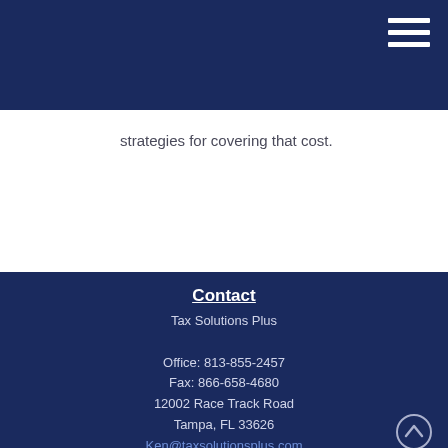strategies for covering that cost.
Contact
Tax Solutions Plus
Office: 813-855-2457
Fax: 866-658-4680
12002 Race Track Road
Tampa, FL 33626
Ken@taxsolutionsplus.com
Quick Links
Retirement
Investment
Estate